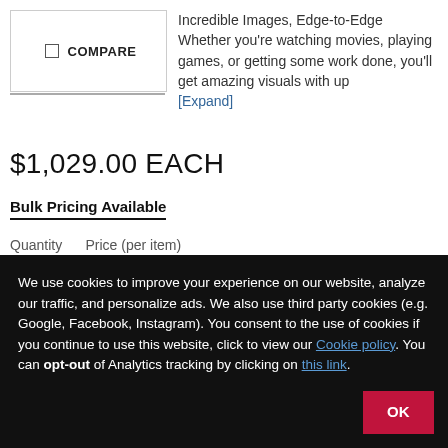[Figure (screenshot): Compare checkbox UI element with border]
Incredible Images, Edge-to-Edge Whether you're watching movies, playing games, or getting some work done, you'll get amazing visuals with up [Expand]
$1,029.00 EACH
Bulk Pricing Available
Quantity     Price (per item)
We use cookies to improve your experience on our website, analyze our traffic, and personalize ads. We also use third party cookies (e.g. Google, Facebook, Instagram). You consent to the use of cookies if you continue to use this website, click to view our Cookie policy. You can opt-out of Analytics tracking by clicking on this link.